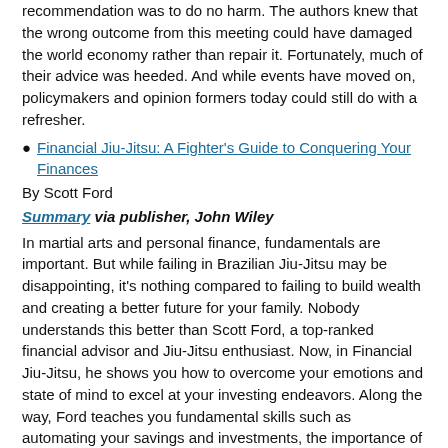recommendation was to do no harm. The authors knew that the wrong outcome from this meeting could have damaged the world economy rather than repair it. Fortunately, much of their advice was heeded. And while events have moved on, policymakers and opinion formers today could still do with a refresher.
Financial Jiu-Jitsu: A Fighter's Guide to Conquering Your Finances
By Scott Ford
Summary via publisher, John Wiley
In martial arts and personal finance, fundamentals are important. But while failing in Brazilian Jiu-Jitsu may be disappointing, it's nothing compared to failing to build wealth and creating a better future for your family. Nobody understands this better than Scott Ford, a top-ranked financial advisor and Jiu-Jitsu enthusiast. Now, in Financial Jiu-Jitsu, he shows you how to overcome your emotions and state of mind to excel at your investing endeavors. Along the way, Ford teaches you fundamental skills such as automating your savings and investments, the importance of paying yourself first, and managing credit wisely.
Super Boom: Why the Dow Jones Will Hit 38,820 and How You Can Profit From It
By Jeffrey Hirsch